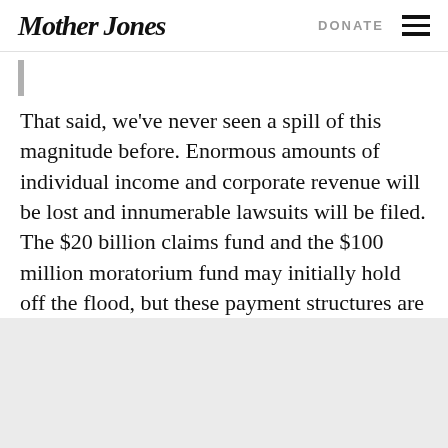Mother Jones  DONATE
That said, we've never seen a spill of this magnitude before. Enormous amounts of individual income and corporate revenue will be lost and innumerable lawsuits will be filed. The $20 billion claims fund and the $100 million moratorium fund may initially hold off the flood, but these payment structures are themselves novel ideas.